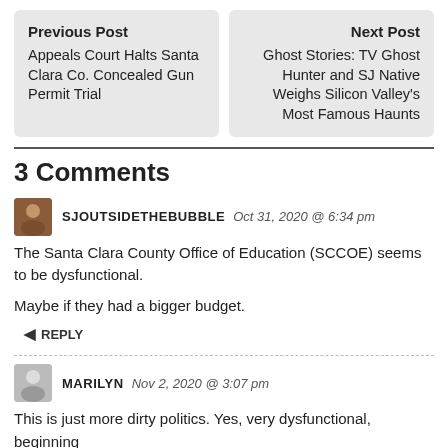Previous Post
Appeals Court Halts Santa Clara Co. Concealed Gun Permit Trial
Next Post
Ghost Stories: TV Ghost Hunter and SJ Native Weighs Silicon Valley's Most Famous Haunts
3 Comments
SJOUTSIDETHEBUBBLE  Oct 31, 2020 @ 6:34 pm
The Santa Clara County Office of Education (SCCOE) seems to be dysfunctional.
Maybe if they had a bigger budget.
REPLY
MARILYN  Nov 2, 2020 @ 3:07 pm
This is just more dirty politics. Yes, very dysfunctional, beginning